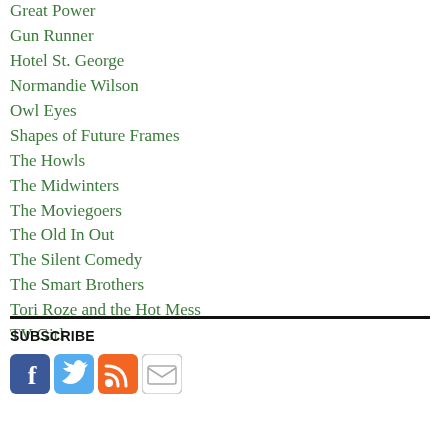Great Power
Gun Runner
Hotel St. George
Normandie Wilson
Owl Eyes
Shapes of Future Frames
The Howls
The Midwinters
The Moviegoers
The Old In Out
The Silent Comedy
The Smart Brothers
Tori Roze and the Hot Mess
TV Girl
SUBSCRIBE
[Figure (illustration): Four social media icon buttons: Facebook (blue), Twitter (light blue), RSS (orange), Email/envelope (gray outline)]